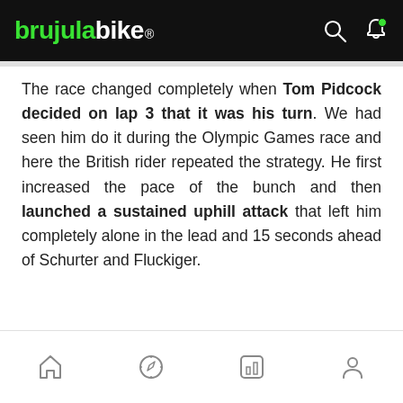brujulabike
The race changed completely when Tom Pidcock decided on lap 3 that it was his turn. We had seen him do it during the Olympic Games race and here the British rider repeated the strategy. He first increased the pace of the bunch and then launched a sustained uphill attack that left him completely alone in the lead and 15 seconds ahead of Schurter and Fluckiger.
[navigation icons: home, compass, chart, profile]